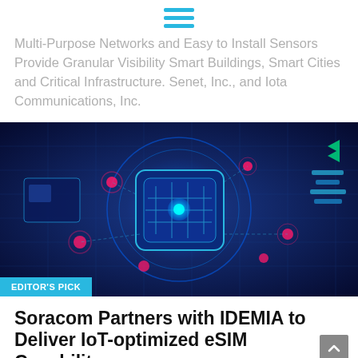☰
Multi-Purpose Networks and Easy to Install Sensors Provide Granular Visibility Smart Buildings, Smart Cities and Critical Infrastructure. Senet, Inc., and Iota Communications, Inc.
[Figure (illustration): Futuristic IoT/technology themed image showing a glowing blue circuit board chip in the center surrounded by pink/red glowing nodes and data visualizations on a dark blue background. Badge in lower-left reads EDITOR'S PICK in white text on cyan background.]
Soracom Partners with IDEMIA to Deliver IoT-optimized eSIM Capability